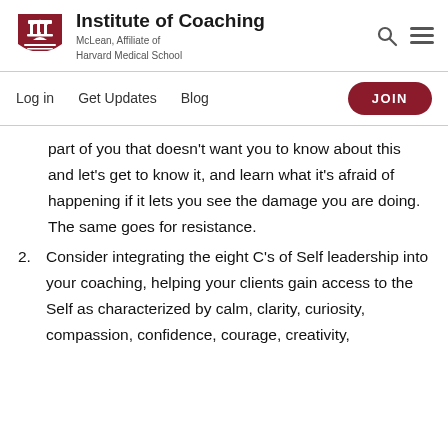Institute of Coaching — McLean, Affiliate of Harvard Medical School
Log in  Get Updates  Blog  JOIN
part of you that doesn't want you to know about this and let's get to know it, and learn what it's afraid of happening if it lets you see the damage you are doing. The same goes for resistance.
2. Consider integrating the eight C's of Self leadership into your coaching, helping your clients gain access to the Self as characterized by calm, clarity, curiosity, compassion, confidence, courage, creativity,